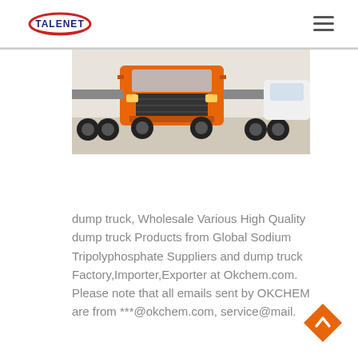TALENET
[Figure (photo): Orange dump truck / semi-truck cab facing forward, parked in a lot with other vehicles visible. Cropped image showing the front of the truck.]
dump truck, Wholesale Various High Quality dump truck Products from Global Sodium Tripolyphosphate Suppliers and dump truck Factory,Importer,Exporter at Okchem.com. Please note that all emails sent by OKCHEM are from ***@okchem.com, service@mail.